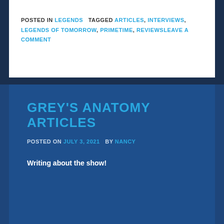POSTED IN LEGENDS   TAGGED ARTICLES, INTERVIEWS, LEGENDS OF TOMORROW, PRIMETIME, REVIEWSLEAVE A COMMENT
GREY'S ANATOMY ARTICLES
POSTED ON JULY 3, 2021   BY NANCY
Writing about the show!